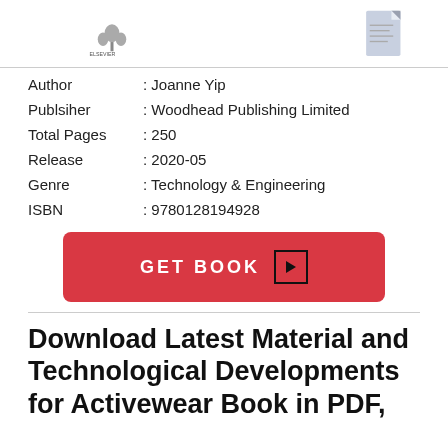[Figure (logo): Elsevier logo (left) and book thumbnail cover (right) at the top of the page]
Author : Joanne Yip
Publsiher : Woodhead Publishing Limited
Total Pages : 250
Release : 2020-05
Genre : Technology & Engineering
ISBN : 9780128194928
GET BOOK ▶
Download Latest Material and Technological Developments for Activewear Book in PDF,